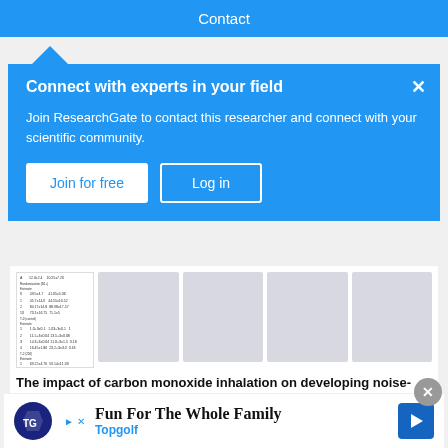Contact
Connect with experts in your field
Join ResearchGate to contact this researcher and connect with your scientific community.
Join for free
Log in
[Figure (screenshot): Thumbnail of a document/table page]
[Figure (screenshot): Placeholder thumbnail 2]
[Figure (screenshot): Placeholder thumbnail 3]
[Figure (screenshot): Placeholder thumbnail 4]
[Figure (screenshot): Placeholder thumbnail 5]
The impact of carbon monoxide inhalation on developing noise-induced hearing loss in guinea pigs
Article   Full-text available   Advertisement
Fun For The Whole Family Topgolf